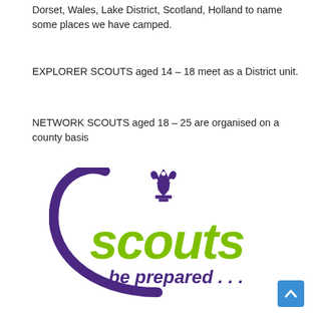Dorset, Wales, Lake District, Scotland, Holland to name some places we have camped.
EXPLORER SCOUTS aged 14 – 18 meet as a District unit.
NETWORK SCOUTS aged 18 – 25 are organised on a county basis
[Figure (logo): Scouts 'be prepared ...' logo with fleur-de-lis symbol and curved swoosh in purple and green]